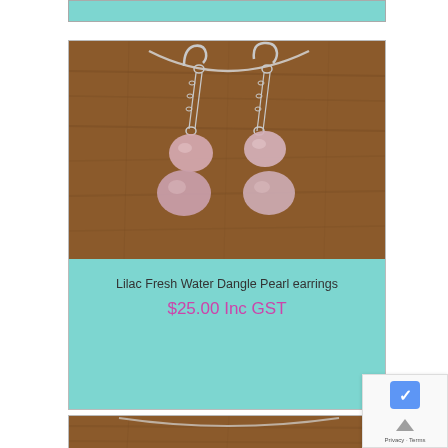[Figure (photo): Top portion of a teal-background product card, partially cut off at top of page]
[Figure (photo): Product photo of Lilac Fresh Water Dangle Pearl earrings on a wooden background. Two pairs of silver dangle earrings with double lilac/pink freshwater pearl drops hang from silver fish-hook earring findings with chain connectors.]
Lilac Fresh Water Dangle Pearl earrings
$25.00 Inc GST
[Figure (photo): Partial view of another product photo at the bottom of the page, showing a wooden background similar to the earring photo above.]
[Figure (other): reCAPTCHA widget partially visible in the lower right corner, showing a blue icon and an up-arrow chevron with partial text.]